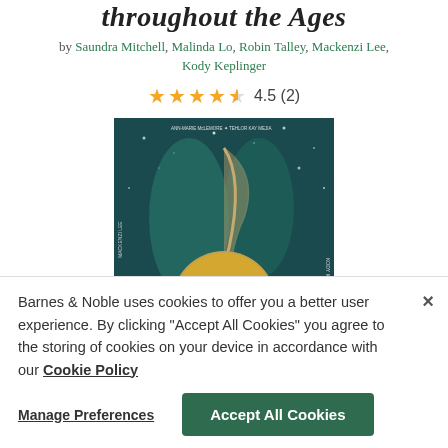throughout the Ages
by Saundra Mitchell, Malinda Lo, Robin Talley, Mackenzi Lee, Kody Keplinger
4.5 (2)
[Figure (illustration): Book cover of 'All Out' — dark teal background with illustrated fantasy figures and a gold circular emblem with the text ALL OUT]
Barnes & Noble uses cookies to offer you a better user experience. By clicking "Accept All Cookies" you agree to the storing of cookies on your device in accordance with our Cookie Policy
Manage Preferences
Accept All Cookies